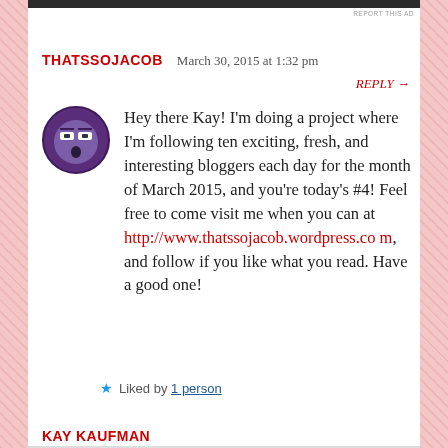REPORT THIS AD
THATSSOJACOB   March 30, 2015 at 1:32 pm
REPLY →
Hey there Kay! I'm doing a project where I'm following ten exciting, fresh, and interesting bloggers each day for the month of March 2015, and you're today's #4! Feel free to come visit me when you can at http://www.thatssojacob.wordpress.com, and follow if you like what you read. Have a good one!
★ Liked by 1 person
KAY KAUFMAN